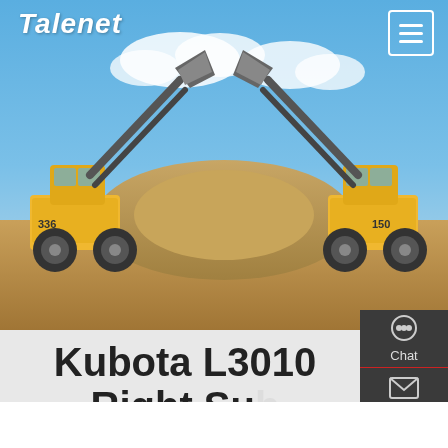Talenet
[Figure (photo): Two yellow front-loader construction machines facing each other with raised buckets, parked on sandy ground against a blue sky with clouds. Appears mirrored/symmetrical.]
Kubota L3010 Right Sub Frame For B4690 Backhoe - Kubota
[Figure (infographic): Right-side floating action panel with dark background showing Chat (headset icon), Email (envelope icon), and Contact (speech bubble icon) options.]